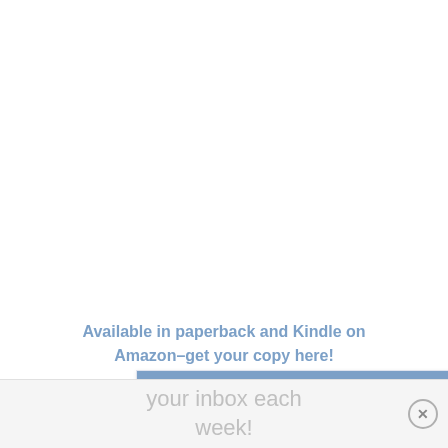Available in paperback and Kindle on Amazon–get your copy here!
[Figure (infographic): Widget box with blue header bar and text 'Get snail-e-mail in']
Get snail-e-mail in
your inbox each week!